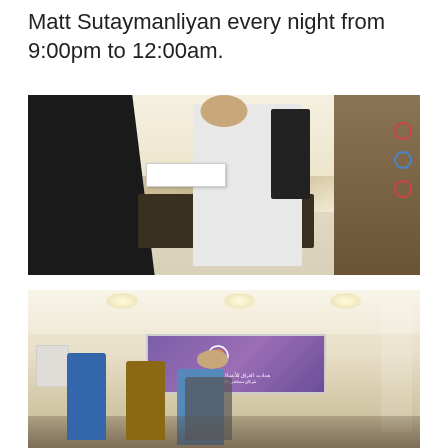Matt Sutaymanliyan every night from 9:00pm to 12:00am.
[Figure (photo): Indoor scene showing a man in a white t-shirt handing a white box to a woman wearing a black abaya and hijab. Behind them is an office setting with shelving units and another person in the background.]
[Figure (photo): A presenter standing in a conference or meeting room with recessed ceiling lights and a large purple banner with Arabic text and a circular logo. Audience members visible in the foreground.]